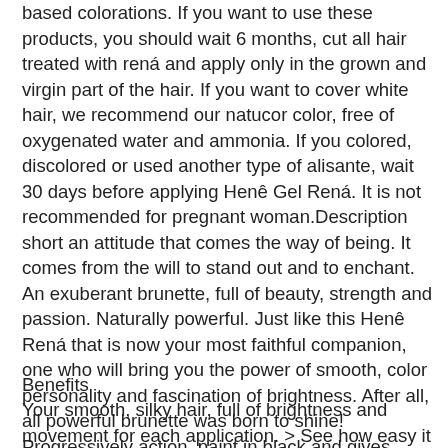based colorations. If you want to use these products, you should wait 6 months, cut all hair treated with rená and apply only in the grown and virgin part of the hair. If you want to cover white hair, we recommend our natucor color, free of oxygenated water and ammonia. If you colored, discolored or used another type of alisante, wait 30 days before applying Henê Gel Rená. It is not recommended for pregnant woman.Description short an attitude that comes the way of being. It comes from the will to stand out and to enchant. An exuberant brunette, full of beauty, strength and passion. Naturally powerful. Just like this Henê Rená that is now your most faithful companion, one who will bring you the power of smooth, color personality and fascination of brightness. After all, all powerful brunette was born to shine! Progressively action, paint in black and gives brightness to the hair. Amateur Jaborandi and Karité. With exclusive essence for a fragrant smooth.
Benefits
Your smooth, silky hair, full of brightness and movement for each application. > See how easy it is to apply Henê Rená